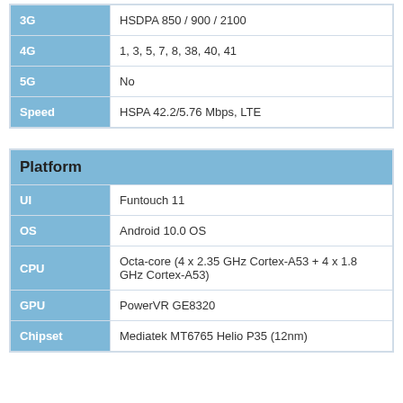| Label | Value |
| --- | --- |
| 3G | HSDPA 850 / 900 / 2100 |
| 4G | 1, 3, 5, 7, 8, 38, 40, 41 |
| 5G | No |
| Speed | HSPA 42.2/5.76 Mbps, LTE |
| Platform |  |
| --- | --- |
| UI | Funtouch 11 |
| OS | Android 10.0 OS |
| CPU | Octa-core (4 x 2.35 GHz Cortex-A53 + 4 x 1.8 GHz Cortex-A53) |
| GPU | PowerVR GE8320 |
| Chipset | Mediatek MT6765 Helio P35 (12nm) |